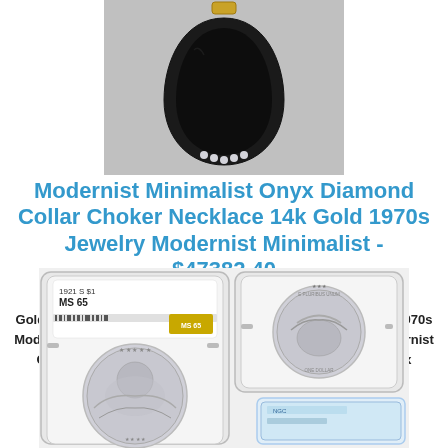[Figure (photo): Modernist minimalist onyx diamond teardrop pendant necklace with 14k gold setting and diamonds at base]
Modernist Minimalist Onyx Diamond Collar Choker Necklace 14k Gold 1970s Jewelry Modernist Minimalist - $47382.40
Gold Jewelry 14k Diamond Necklace Onyx Minimalist Choker 1970s Modernist Collar 1970s Onyx Necklace Minimalist Choker Modernist Gold Jewelry Diamond Collar 14k Modernist Minimalist Onyx
[Figure (photo): Two NGC graded coin slabs showing Morgan silver dollars - left slab labeled 1921 S $1 MS 65, right slab showing reverse of Morgan dollar and partial third slab]